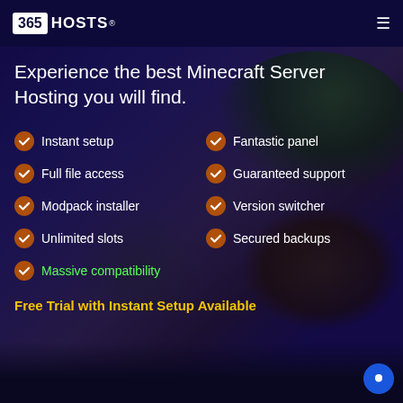365 HOSTS
Experience the best Minecraft Server Hosting you will find.
Instant setup
Fantastic panel
Full file access
Guaranteed support
Modpack installer
Version switcher
Unlimited slots
Secured backups
Massive compatibility
Free Trial with Instant Setup Available